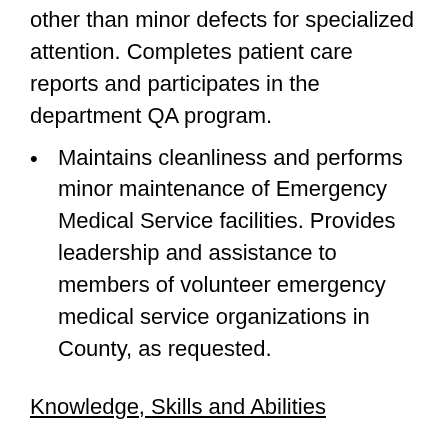other than minor defects for specialized attention. Completes patient care reports and participates in the department QA program.
Maintains cleanliness and performs minor maintenance of Emergency Medical Service facilities. Provides leadership and assistance to members of volunteer emergency medical service organizations in County, as requested.
Knowledge, Skills and Abilities
Considerable knowledge of and skill in administering emergency medical procedures and techniques.
Considerable knowledge of anatomy and physiology.